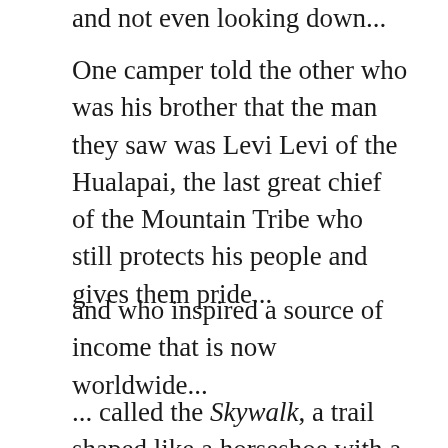and not even looking down...
One camper told the other who was his brother that the man they saw was Levi Levi of the Hualapai, the last great chief of the Mountain Tribe who still protects his people and gives them pride...
and who inspired a source of income that is now worldwide...
... called the Skywalk, a trail shaped like a horseshoe with a steel frame